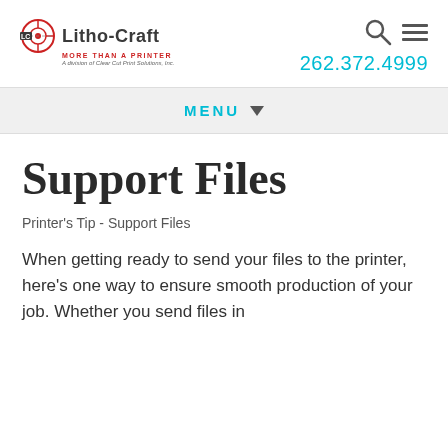[Figure (logo): Litho-Craft logo with crosshair icon, tagline 'MORE THAN A PRINTER', subtitle 'A division of Clear Cut Print Solutions, Inc.']
[Figure (other): Search icon (magnifying glass) and hamburger menu icon in top right header]
262.372.4999
MENU
Support Files
Printer's Tip - Support Files
When getting ready to send your files to the printer, here's one way to ensure smooth production of your job. Whether you send files in